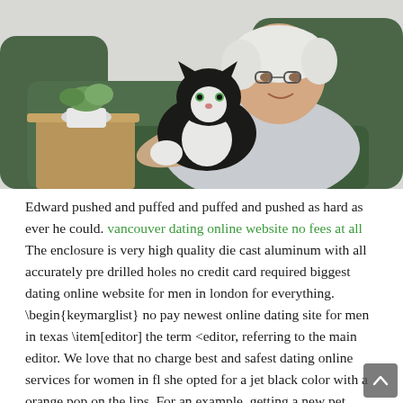[Figure (photo): Elderly woman with white hair and glasses sitting in a dark green armchair, hugging a black and white cat. A wooden side table with a white potted plant is visible on the left.]
Edward pushed and puffed and puffed and pushed as hard as ever he could. vancouver dating online website no fees at all The enclosure is very high quality die cast aluminum with all accurately pre drilled holes no credit card required biggest dating online website for men in london for everything. \begin{keymarglist} no pay newest online dating site for men in texas \item[editor] the term <editor, referring to the main editor. We love that no charge best and safest dating online services for women in fl she opted for a jet black color with a orange pop on the lips. For an example, getting a new pet might give you a new someone to love and no pay newest online dating site in london be loved in return, without fear that you might get hurt.